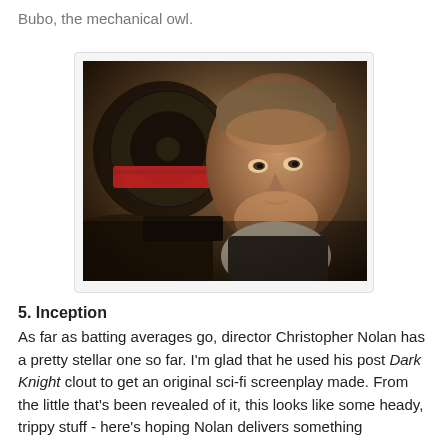Bubo, the mechanical owl.
[Figure (photo): A man (director Christopher Nolan) looking intently at camera, with film equipment visible in the background including a film reel, dark cinematic lighting]
5. Inception
As far as batting averages go, director Christopher Nolan has a pretty stellar one so far. I'm glad that he used his post Dark Knight clout to get an original sci-fi screenplay made. From the little that's been revealed of it, this looks like some heady, trippy stuff - here's hoping Nolan delivers something